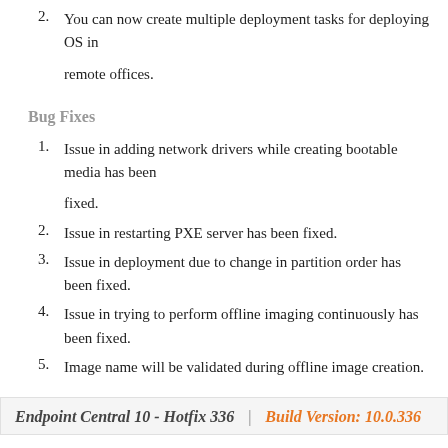2. You can now create multiple deployment tasks for deploying OS in remote offices.
Bug Fixes
1. Issue in adding network drivers while creating bootable media has been fixed.
2. Issue in restarting PXE server has been fixed.
3. Issue in deployment due to change in partition order has been fixed.
4. Issue in trying to perform offline imaging continuously has been fixed.
5. Image name will be validated during offline image creation.
Endpoint Central 10 - Hotfix 336  |  Build Version: 10.0.336
Features
1. Mobile Device Manager Plus now supports Enterprise Factory Reset